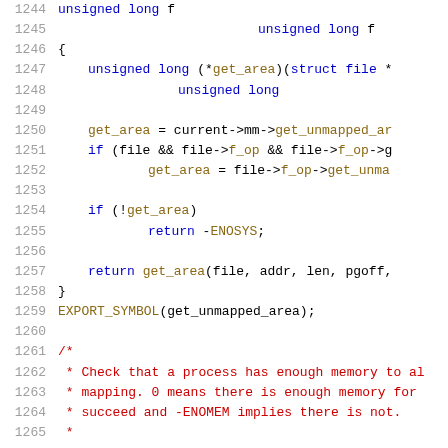[Figure (screenshot): Source code listing showing C code lines 1244-1265, with line numbers on the left in gray, keywords in blue, function names in dark yellow/brown, and comments in red. Shows implementation of get_unmapped_area function and beginning of a comment block.]